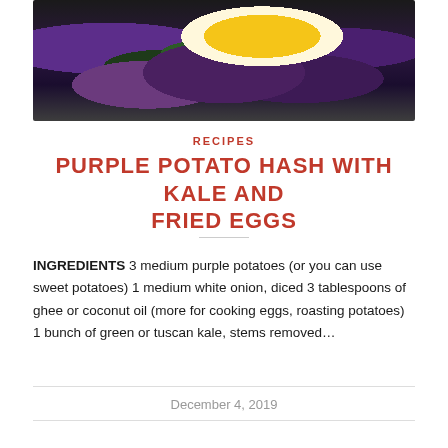[Figure (photo): Overhead view of a cast iron skillet containing purple potato hash with kale and a fried egg on top, garnished with green onions and herbs, on a white marble surface.]
RECIPES
PURPLE POTATO HASH WITH KALE AND FRIED EGGS
INGREDIENTS 3 medium purple potatoes (or you can use sweet potatoes) 1 medium white onion, diced 3 tablespoons of ghee or coconut oil (more for cooking eggs, roasting potatoes) 1 bunch of green or tuscan kale, stems removed…
December 4, 2019